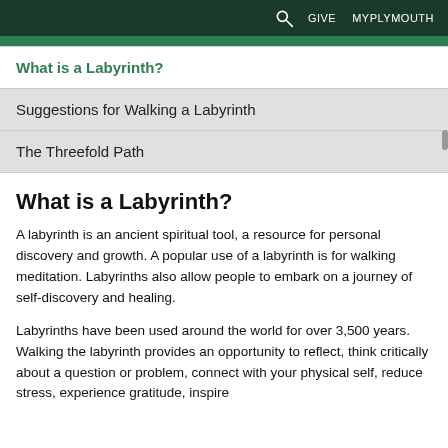GIVE  MYPLYMOUTH
What is a Labyrinth?
Suggestions for Walking a Labyrinth
The Threefold Path
What is a Labyrinth?
A labyrinth is an ancient spiritual tool, a resource for personal discovery and growth. A popular use of a labyrinth is for walking meditation. Labyrinths also allow people to embark on a journey of self-discovery and healing.
Labyrinths have been used around the world for over 3,500 years. Walking the labyrinth provides an opportunity to reflect, think critically about a question or problem, connect with your physical self, reduce stress, experience gratitude, inspire